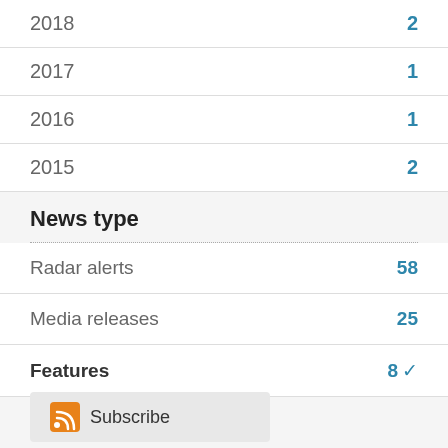2018  2
2017  1
2016  1
2015  2
News type
Radar alerts  58
Media releases  25
Features  8 ✓
Subscribe